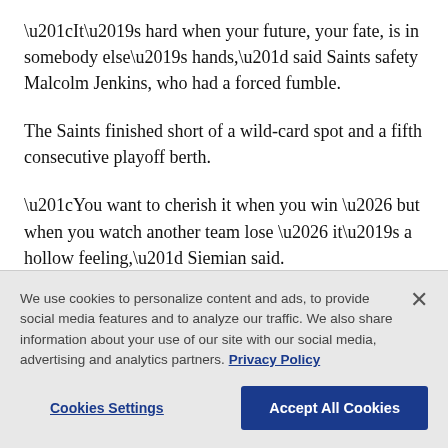“It’s hard when your future, your fate, is in somebody else’s hands,” said Saints safety Malcolm Jenkins, who had a forced fumble.
The Saints finished short of a wild-card spot and a fifth consecutive playoff berth.
“You want to cherish it when you win … but when you watch another team lose … it’s a hollow feeling,” Siemian said.
Cornerback Paulson Adebo, who had an interception,
We use cookies to personalize content and ads, to provide social media features and to analyze our traffic. We also share information about your use of our site with our social media, advertising and analytics partners. Privacy Policy
Cookies Settings
Accept All Cookies